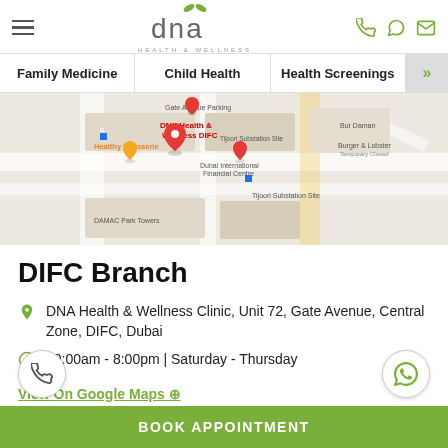DNA Health & Wellness
Family Medicine | Child Health | Health Screenings
[Figure (map): Google Maps view showing DNA Health & Wellness DIFC location at Dubai International Financial Centre, Gate Avenue Parking, Healthy Patisserie, DAMAC Park Towers, Tijoori Substation Site, Burger & Lobster nearby]
DIFC Branch
DNA Health & Wellness Clinic, Unit 72, Gate Avenue, Central Zone, DIFC, Dubai
10:00am - 8:00pm | Saturday - Thursday
View On Google Maps ⊕
BOOK APPOINTMENT